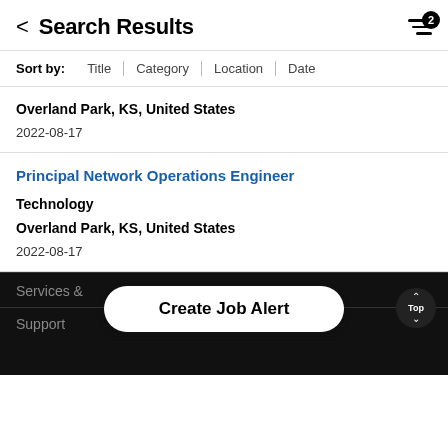Search Results
Sort by: Title | Category | Location | Date
Overland Park, KS, United States
2022-08-17
Principal Network Operations Engineer
Technology
Overland Park, KS, United States
2022-08-17
Services &
Create Job Alert
Support